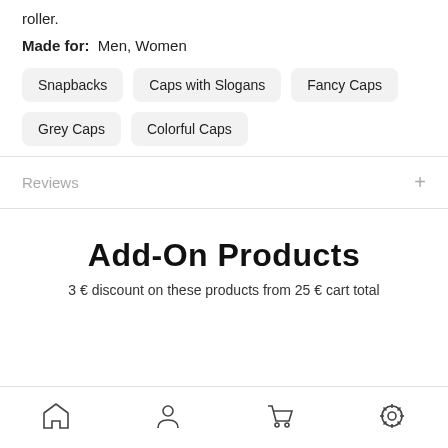roller.
Made for: Men, Women
Snapbacks
Caps with Slogans
Fancy Caps
Grey Caps
Colorful Caps
Reviews
Add-On Products
3 € discount on these products from 25 € cart total